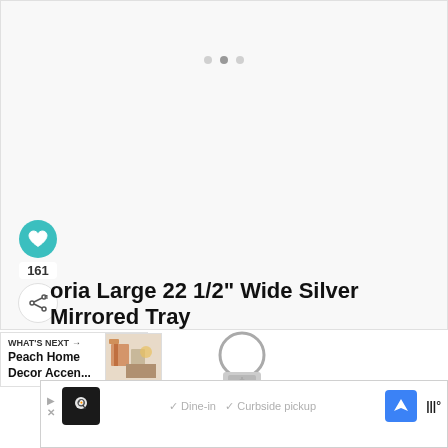[Figure (photo): Large white/light gray product image area for a Silver Mirrored Tray, with navigation dots at top center]
161
oria Large 22 1/2" Wide Silver Mirrored Tray
[Figure (photo): What's Next section showing Peach Home Decor Accen... with a decorative image thumbnail of colorful home decor items]
[Figure (photo): Small product preview image showing a silver metallic lamp or tray with circular handle]
[Figure (screenshot): Ad banner showing 44110 Ashburn Shopping Plaza... with restaurant ad featuring chef logo, Dine-in and Curbside pickup options, navigation icon and sound icon]